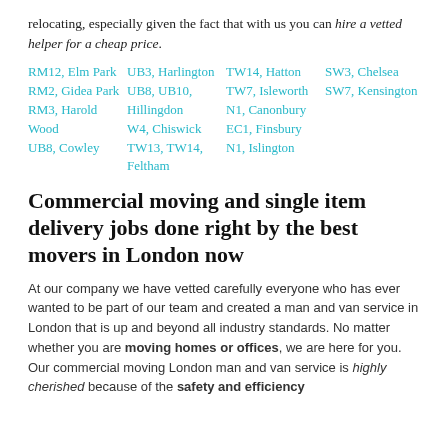relocating, especially given the fact that with us you can hire a vetted helper for a cheap price.
RM12, Elm Park
UB3, Harlington
TW14, Hatton
SW3, Chelsea
RM2, Gidea Park
UB8, UB10, Hillingdon
TW7, Isleworth
SW7, Kensington
RM3, Harold Wood
W4, Chiswick
N1, Canonbury
UB8, Cowley
TW13, TW14, Feltham
EC1, Finsbury
N1, Islington
Commercial moving and single item delivery jobs done right by the best movers in London now
At our company we have vetted carefully everyone who has ever wanted to be part of our team and created a man and van service in London that is up and beyond all industry standards. No matter whether you are moving homes or offices, we are here for you. Our commercial moving London man and van service is highly cherished because of the safety and efficiency